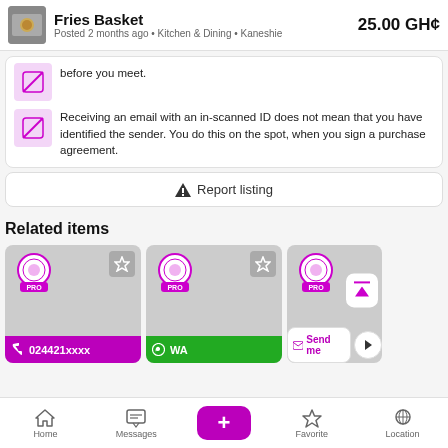Fries Basket · Posted 2 months ago · Kitchen & Dining · Kaneshie · 25.00 GH¢
before you meet.
Receiving an email with an in-scanned ID does not mean that you have identified the sender. You do this on the spot, when you sign a purchase agreement.
Report listing
Related items
[Figure (screenshot): Three related item cards with PRO badges, favorite star buttons, and action buttons: '024421xxxx' phone call button in purple, 'WA' WhatsApp button in green, and 'Send me' email button in white/purple.]
Home · Messages · + · Favorite · Location